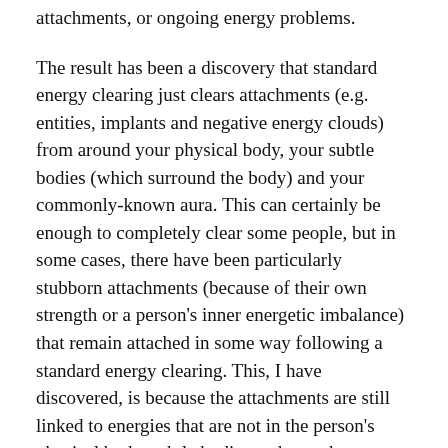attachments, or ongoing energy problems.
The result has been a discovery that standard energy clearing just clears attachments (e.g. entities, implants and negative energy clouds) from around your physical body, your subtle bodies (which surround the body) and your commonly-known aura. This can certainly be enough to completely clear some people, but in some cases, there have been particularly stubborn attachments (because of their own strength or a person's inner energetic imbalance) that remain attached in some way following a standard energy clearing. This, I have discovered, is because the attachments are still linked to energies that are not in the person's physical body, subtle bodies and aura, but somewhere beyond...
What is beyond these standard